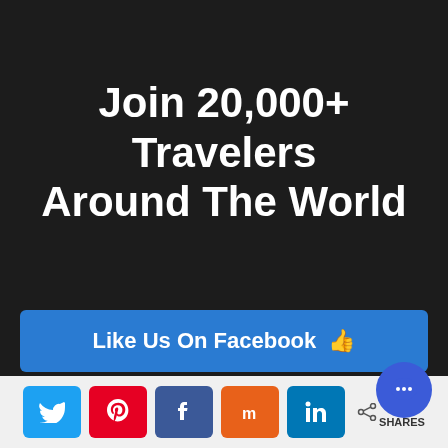Join 20,000+ Travelers Around The World
Like Us On Facebook 👍
21,185 Followers
Join Our Facebook Group 👥
[Figure (infographic): Social share bar at bottom with Twitter, Pinterest, Facebook, Mix, LinkedIn buttons and share count showing 9 SHARES, plus a blue chat bubble icon]